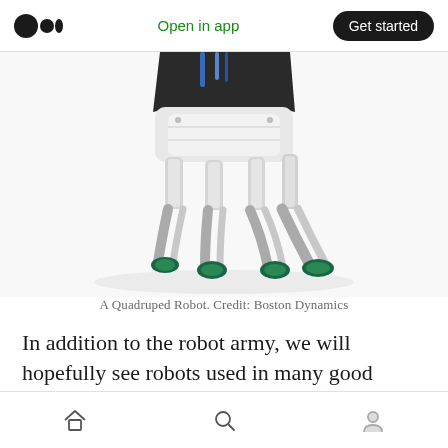Open in app  Get started
[Figure (photo): A quadruped robot (Boston Dynamics Spot) shown from a low angle, white and black body with metallic legs and green rubber feet pads, on a white background. Only the lower body and legs are visible (cropped at top).]
A Quadruped Robot. Credit: Boston Dynamics
In addition to the robot army, we will hopefully see robots used in many good scenarios where humans should no longer risk their lives.
Home  Search  Profile